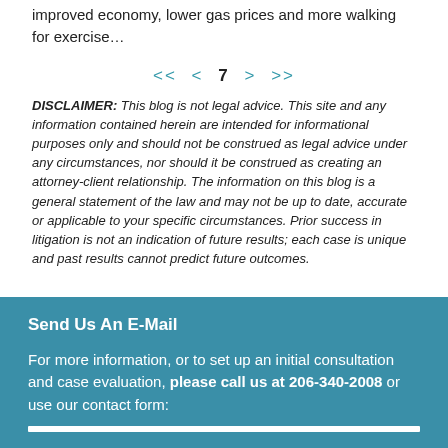improved economy, lower gas prices and more walking for exercise…
<< < 7 > >>
DISCLAIMER: This blog is not legal advice. This site and any information contained herein are intended for informational purposes only and should not be construed as legal advice under any circumstances, nor should it be construed as creating an attorney-client relationship. The information on this blog is a general statement of the law and may not be up to date, accurate or applicable to your specific circumstances. Prior success in litigation is not an indication of future results; each case is unique and past results cannot predict future outcomes.
Send Us An E-Mail
For more information, or to set up an initial consultation and case evaluation, please call us at 206-340-2008 or use our contact form: